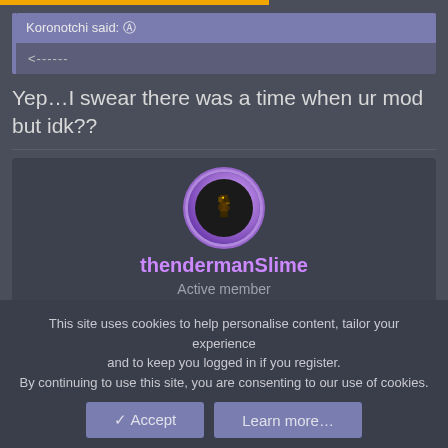Koronotchi said: ↑
<------
Yep...I swear there was a time when ur mod but idk??
[Figure (illustration): User profile card for thendermanSlime showing a circular avatar with purple gradient border containing a dark background with a pixel art character, username 'thendermanSlime' in purple, role 'Active member', and mini user row showing kazooduck with DEFAULT badge]
This site uses cookies to help personalise content, tailor your experience and to keep you logged in if you register. By continuing to use this site, you are consenting to our use of cookies.
Accept
Learn more...